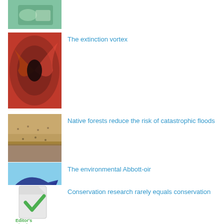[Figure (photo): Partial top image of hands, cropped]
[Figure (photo): Red swirling abstract/biological image]
The extinction vortex
[Figure (photo): Sandy beach or sediment landscape]
Native forests reduce the risk of catastrophic floods
[Figure (illustration): Painted beach scene with a large fish/marlin]
The environmental Abbott-oir
[Figure (illustration): Editor's Selection icon with green checkmark]
Conservation research rarely equals conservation